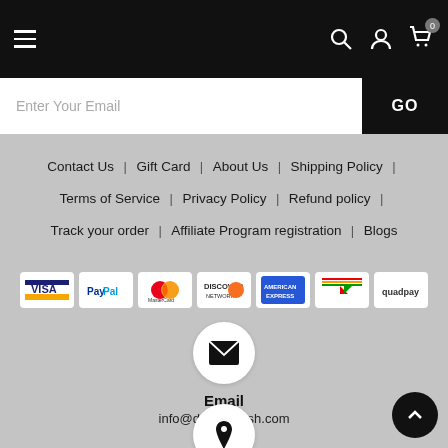Navigation bar with hamburger menu, search, account, and cart icons
Enter Your Email  GO
Contact Us | Gift Card | About Us | Shipping Policy | Terms of Service | Privacy Policy | Refund policy | Track your order | Affiliate Program registration | Blogs
[Figure (other): Payment method logos: Visa, PayPal, MasterCard, Discover, American Express, JCB/generic, Quadpay]
[Figure (other): Email icon in white circle]
Email
info@decorstylish.com
[Figure (other): Location pin icon in white circle (partially visible at bottom)]